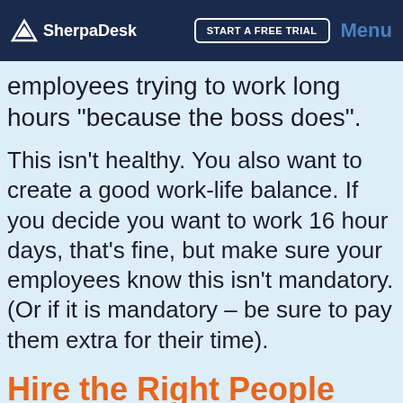SherpaDesk | START A FREE TRIAL | Menu
employees trying to work long hours "because the boss does".
This isn't healthy. You also want to create a good work-life balance. If you decide you want to work 16 hour days, that's fine, but make sure your employees know this isn't mandatory. (Or if it is mandatory – be sure to pay them extra for their time).
Hire the Right People